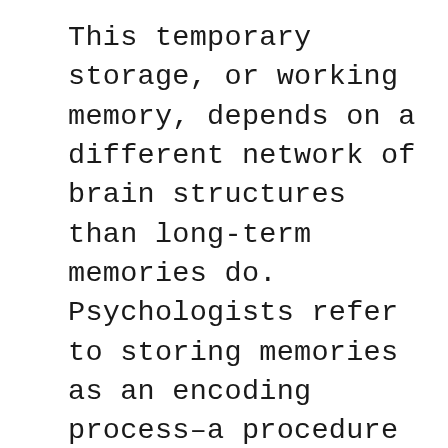This temporary storage, or working memory, depends on a different network of brain structures than long-term memories do. Psychologists refer to storing memories as an encoding process–a procedure for transforming something a person sees, hears, thinks, or feels into a memory. Scientists have determined there are different methods on how we lay down our memories.